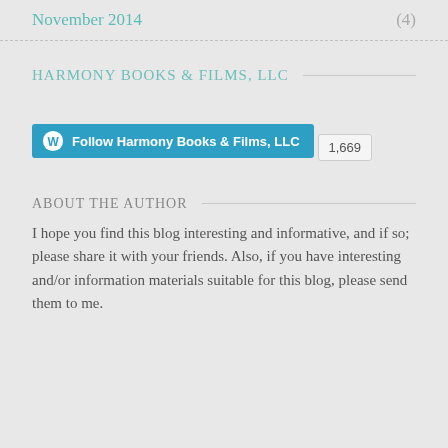November 2014 (4)
HARMONY BOOKS & FILMS, LLC
[Figure (other): WordPress Follow button for Harmony Books & Films, LLC with follower count 1,669]
ABOUT THE AUTHOR
I hope you find this blog interesting and informative, and if so; please share it with your friends. Also, if you have interesting and/or information materials suitable for this blog, please send them to me.